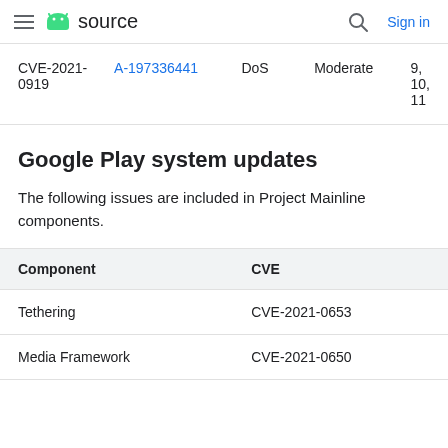≡ android source   🔍 Sign in
| CVE-2021-0919 | A-197336441 | DoS | Moderate | 9, 10, 11 |
Google Play system updates
The following issues are included in Project Mainline components.
| Component | CVE |
| --- | --- |
| Tethering | CVE-2021-0653 |
| Media Framework | CVE-2021-0650 |